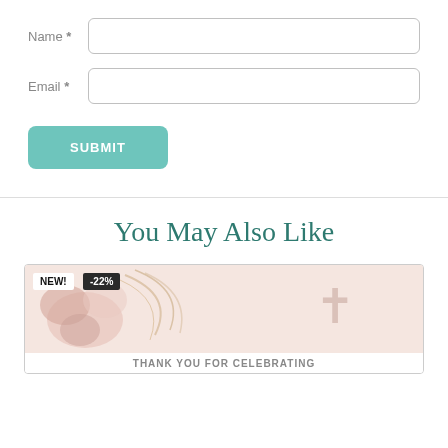Name *
Email *
SUBMIT
You May Also Like
[Figure (photo): Product card showing a religious thank you card with floral arrangement and cross symbol. Badges show NEW! and -22% discount. Bottom text partially visible: THANK YOU FOR CELEBRATING]
THANK YOU FOR CELEBRATING